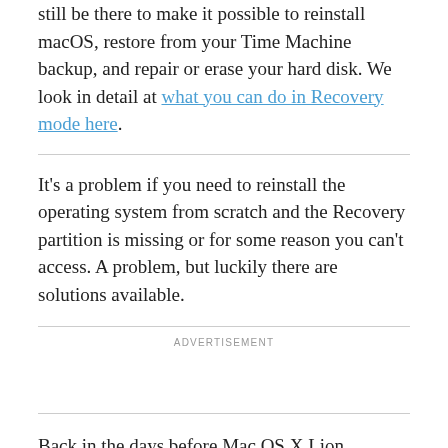still be there to make it possible to reinstall macOS, restore from your Time Machine backup, and repair or erase your hard disk. We look in detail at what you can do in Recovery mode here.
It's a problem if you need to reinstall the operating system from scratch and the Recovery partition is missing or for some reason you can't access. A problem, but luckily there are solutions available.
ADVERTISEMENT
Back in the days before Mac OS X Lion launched in 2011 there wasn't a Recovery partition, instead you needed to have a physical disc with the software on it and an optical drive to insert it into. These days it's rare to find a Mac with a optical drive, let alone find